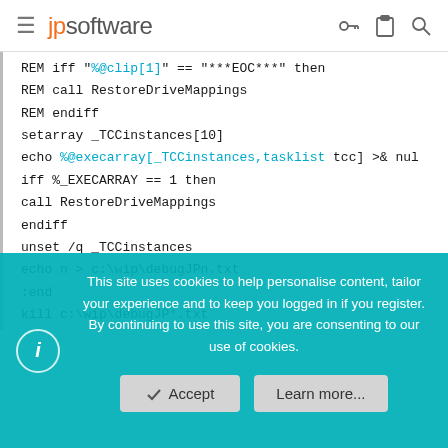jpsoftware
REM iff "%@clip[1]" == "***EOC***" then
REM call RestoreDriveMappings
REM endiff
setarray _TCCinstances[10]
echo %@execarray[_TCCinstances,tasklist tcc] >& nul
iff %_EXECARRAY == 1 then
call RestoreDriveMappings
endiff
unset /q _TCCinstances
echo n > c:\wip\debugJPn.txt
:end
kill c:\wip\debugJP*.txt
This site uses cookies to help personalise content, tailor your experience and to keep you logged in if you register.
By continuing to use this site, you are consenting to our use of cookies.